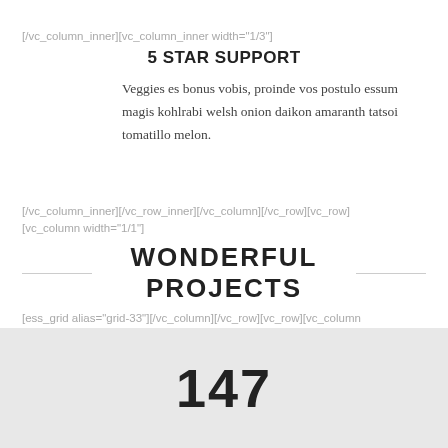[/vc_column_inner][vc_column_inner width="1/3"]
5 STAR SUPPORT
Veggies es bonus vobis, proinde vos postulo essum magis kohlrabi welsh onion daikon amaranth tatsoi tomatillo melon.
[/vc_column_inner][/vc_row_inner][/vc_column][/vc_row][vc_row] [vc_column width="1/1"]
WONDERFUL PROJECTS
[ess_grid alias="grid-33"][/vc_column][/vc_row][vc_row][vc_column width="1/1"] [vc_row_inner][vc_column_inner width="1/4"]
147